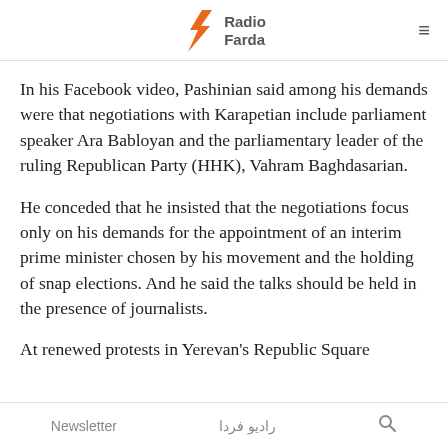Radio Farda
In his Facebook video, Pashinian said among his demands were that negotiations with Karapetian include parliament speaker Ara Babloyan and the parliamentary leader of the ruling Republican Party (HHK), Vahram Baghdasarian.
He conceded that he insisted that the negotiations focus only on his demands for the appointment of an interim prime minister chosen by his movement and the holding of snap elections. And he said the talks should be held in the presence of journalists.
At renewed protests in Yerevan's Republic Square
Newsletter   رادیو فردا   🔍